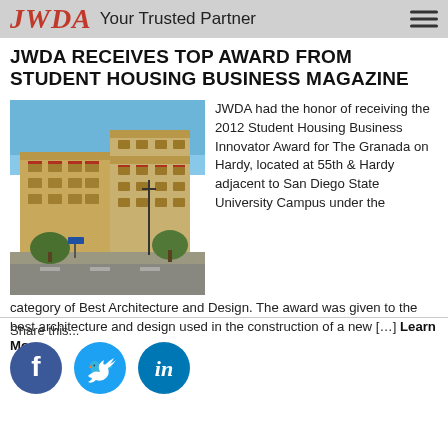JWDA Your Trusted Partner
JWDA RECEIVES TOP AWARD FROM STUDENT HOUSING BUSINESS MAGAZINE
[Figure (photo): Multi-story student housing apartment building The Granada on Hardy, located at 55th & Hardy adjacent to San Diego State University Campus, photographed from street level under blue sky.]
JWDA had the honor of receiving the 2012 Student Housing Business Innovator Award for The Granada on Hardy, located at 55th & Hardy adjacent to San Diego State University Campus under the category of Best Architecture and Design. The award was given to the best architecture and design used in the construction of a new […] Learn More
Share this...
[Figure (logo): Facebook, Twitter, and LinkedIn social share icons]